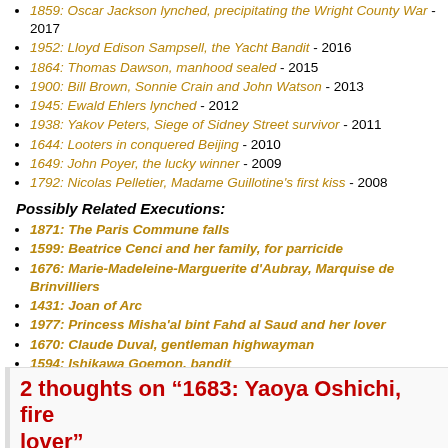1859: Oscar Jackson lynched, precipitating the Wright County War - 2017
1952: Lloyd Edison Sampsell, the Yacht Bandit - 2016
1864: Thomas Dawson, manhood sealed - 2015
1900: Bill Brown, Sonnie Crain and John Watson - 2013
1945: Ewald Ehlers lynched - 2012
1938: Yakov Peters, Siege of Sidney Street survivor - 2011
1644: Looters in conquered Beijing - 2010
1649: John Poyer, the lucky winner - 2009
1792: Nicolas Pelletier, Madame Guillotine's first kiss - 2008
Possibly Related Executions:
1871: The Paris Commune falls
1599: Beatrice Cenci and her family, for parricide
1676: Marie-Madeleine-Marguerite d'Aubray, Marquise de Brinvilliers
1431: Joan of Arc
1977: Princess Misha'al bint Fahd al Saud and her lover
1670: Claude Duval, gentleman highwayman
1594: Ishikawa Goemon, bandit
Entry Filed under: 17th Century, Arson, Arts and Literature, Burned, Capital Punishment, Children, Common Criminals, Death Penalty, Execution, Famous, History, Japan, Popular Culture, Public Executions, Sex, Women
Tags: 1680s, 1683, april 25, dance, edo, ihara, love, march 29, saikaku, theater, tokyo, yaoya oshichi
2 thoughts on “1683: Yaoya Oshichi, fire lover”